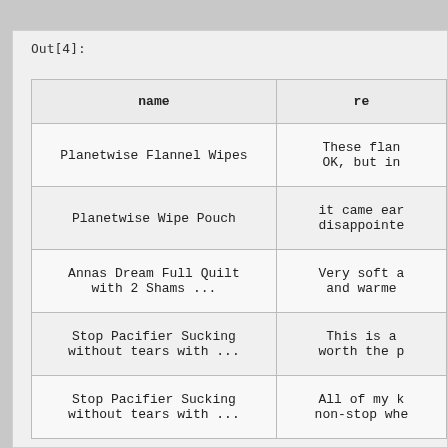Out[4]:
| name | re |
| --- | --- |
| Planetwise Flannel Wipes | These flan
OK, but in |
| Planetwise Wipe Pouch | it came ear
disappointe |
| Annas Dream Full Quilt
with 2 Shams ... | Very soft a
and warme |
| Stop Pacifier Sucking
without tears with ... | This is a
worth the p |
| Stop Pacifier Sucking
without tears with ... | All of my k
non-stop whe |